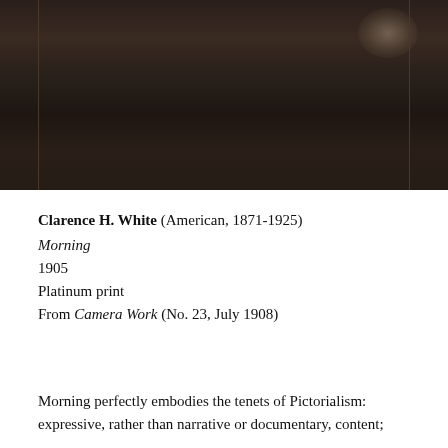[Figure (photo): A dark, atmospheric Pictorialist photograph, sepia-toned, showing a partially visible figure against a very dark background. The image is cropped at the top of the page, showing mostly dark tones with a faint highlight in the upper right area.]
Clarence H. White (American, 1871-1925)
Morning
1905
Platinum print
From Camera Work (No. 23, July 1908)
Morning perfectly embodies the tenets of Pictorialism: expressive, rather than narrative or documentary, content;